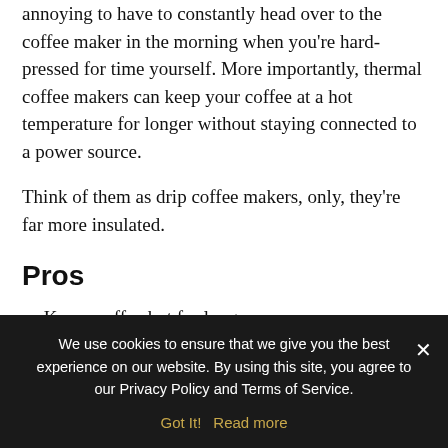annoying to have to constantly head over to the coffee maker in the morning when you're hard-pressed for time yourself. More importantly, thermal coffee makers can keep your coffee at a hot temperature for longer without staying connected to a power source.
Think of them as drip coffee makers, only, they're far more insulated.
Pros
Keeps coffee hot for long
Makes a large quantity of coffee for the whole family
We use cookies to ensure that we give you the best experience on our website. By using this site, you agree to our Privacy Policy and Terms of Service.
Got It!  Read more